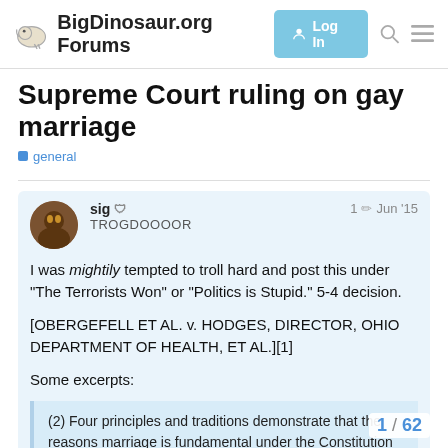BigDinosaur.org Forums
Supreme Court ruling on gay marriage
general
sig TROGDOOOOR 1 Jun '15
I was mightily tempted to troll hard and post this under “The Terrorists Won” or “Politics is Stupid.” 5-4 decision.
[OBERGEFELL ET AL. v. HODGES, DIRECTOR, OHIO DEPARTMENT OF HEALTH, ET AL.][1]
Some excerpts:
(2) Four principles and traditions demonstrate that the reasons marriage is fundamental under the Constitution apply with equal force to same-sex cou… premise of this Court’s relevant prece…
1 / 62